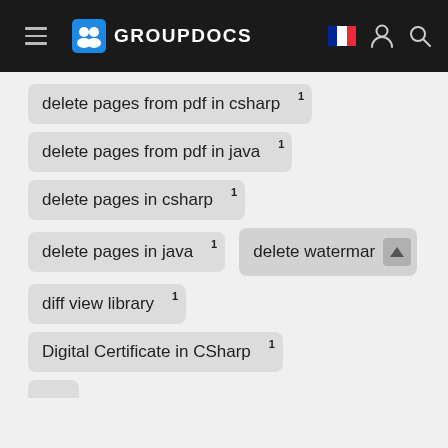GROUPDOCS
delete pages from pdf in csharp 1
delete pages from pdf in java 1
delete pages in csharp 1
delete pages in java 1
delete watermar [truncated]
diff view library 1
Digital Certificate in CSharp 1